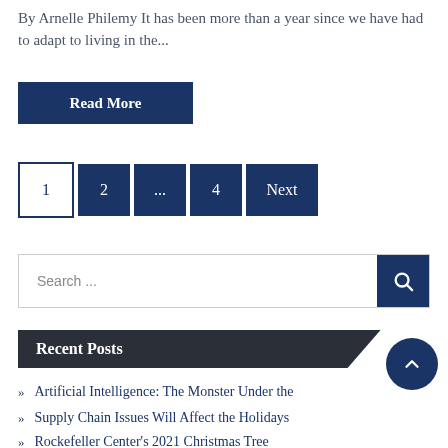By Arnelle Philemy It has been more than a year since we have had to adapt to living in the...
Read More
1 2 ... 4 Next
Search ...
Recent Posts
Artificial Intelligence: The Monster Under the
Supply Chain Issues Will Affect the Holidays
Rockefeller Center's 2021 Christmas Tree